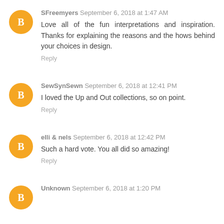SFreemyers   September 6, 2018 at 1:47 AM
Love all of the fun interpretations and inspiration. Thanks for explaining the reasons and the hows behind your choices in design.
Reply
SewSynSewn   September 6, 2018 at 12:41 PM
I loved the Up and Out collections, so on point.
Reply
elli & nels   September 6, 2018 at 12:42 PM
Such a hard vote. You all did so amazing!
Reply
Unknown   September 6, 2018 at 1:20 PM